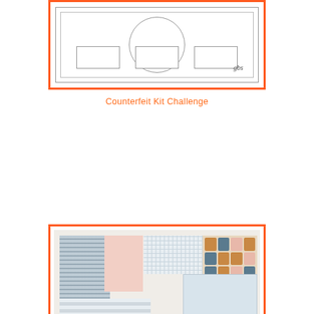[Figure (schematic): Scrapbook layout sketch/template with orange border, showing a circle, three rectangles at bottom, and 'gbs' signature, all in light grey outlines on white background]
Counterfeit Kit Challenge
[Figure (illustration): Counterfeit Kit Challenge scrapbook supply kit collage image with orange border, showing patterned papers, stickers, journaling cards, embellishments in pink, blue-grey, white, and orange color palette with watermark 'scrapelight.nl']